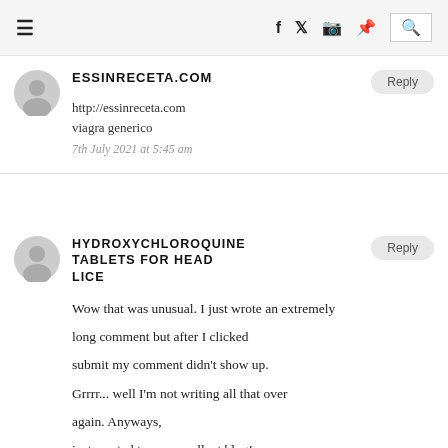Navigation bar with hamburger menu, social icons (f, twitter, instagram, pinterest), and search icon
ESSINRECETA.COM
http://essinreceta.com
viagra generico
7th July 2021 at 5:45 am
HYDROXYCHLOROQUINE TABLETS FOR HEAD LICE
Wow that was unusual. I just wrote an extremely long comment but after I clicked submit my comment didn't show up. Grrrr... well I'm not writing all that over again. Anyways, just wanted to say excellent blog!